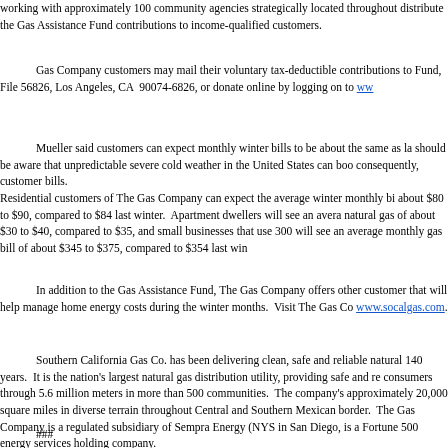working with approximately 100 community agencies strategically located throughout distribute the Gas Assistance Fund contributions to income-qualified customers.
Gas Company customers may mail their voluntary tax-deductible contributions to Fund, File 56826, Los Angeles, CA 90074-6826, or donate online by logging on to www...
Mueller said customers can expect monthly winter bills to be about the same as last year. Customers should be aware that unpredictable severe cold weather in the United States can boost natural gas prices and consequently, customer bills. Residential customers of The Gas Company can expect the average winter monthly bill of about $80 to $90, compared to $84 last winter. Apartment dwellers will see an average monthly cost for natural gas of about $30 to $40, compared to $35, and small businesses that use 300 therms per month will see an average monthly gas bill of about $345 to $375, compared to $354 last winter.
In addition to the Gas Assistance Fund, The Gas Company offers other customer assistance programs that will help manage home energy costs during the winter months. Visit The Gas Company's Web site at www.socalgas.com.
Southern California Gas Co. has been delivering clean, safe and reliable natural gas for more than 140 years. It is the nation's largest natural gas distribution utility, providing safe and reliable energy to consumers through 5.6 million meters in more than 500 communities. The company's service territory covers approximately 20,000 square miles in diverse terrain throughout Central and Southern California to the Mexican border. The Gas Company is a regulated subsidiary of Sempra Energy (NYSE: SRE), headquartered in San Diego, is a Fortune 500 energy services holding company.
###